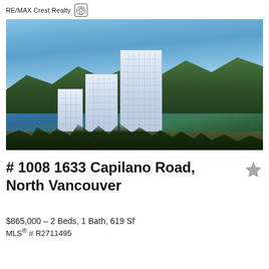RE/MAX Crest Realty
[Figure (photo): Exterior rendering of two modern high-rise residential towers with glass facades and green terraces, set against a blue sky with mountains in background, North Vancouver]
# 1008 1633 Capilano Road, North Vancouver
$865,000 – 2 Beds, 1 Bath, 619 Sf
MLS® # R2711495